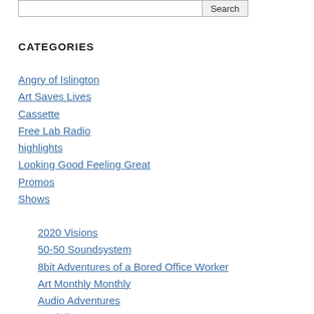CATEGORIES
Angry of Islington
Art Saves Lives
Cassette
Free Lab Radio
highlights
Looking Good Feeling Great
Promos
Shows
2020 Visions
50-50 Soundsystem
8bit Adventures of a Bored Office Worker
Art Monthly Monthly
Audio Adventures
Book list